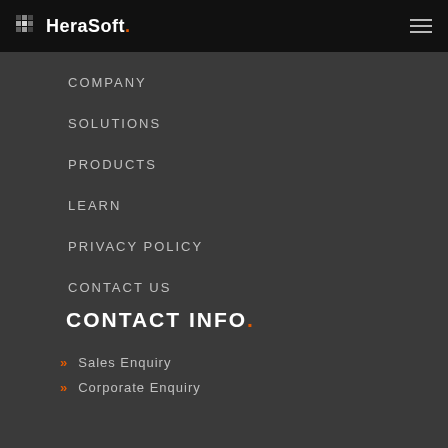HeraSoft.
COMPANY
SOLUTIONS
PRODUCTS
LEARN
PRIVACY POLICY
CONTACT US
CONTACT INFO.
Sales Enquiry
Corporate Enquiry